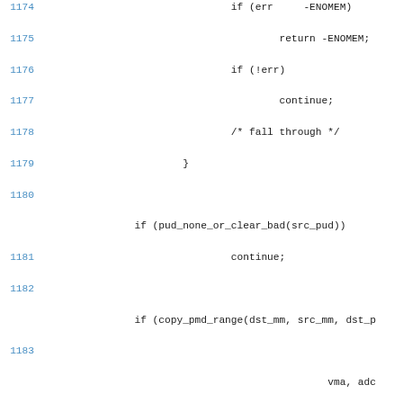Source code listing showing C kernel code lines 1174-1192, including functions copy_pud_range and copy_p4d_range with memory management operations.